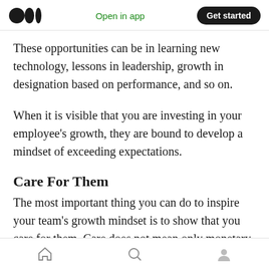Medium app header — Open in app | Get started
These opportunities can be in learning new technology, lessons in leadership, growth in designation based on performance, and so on.
When it is visible that you are investing in your employee's growth, they are bound to develop a mindset of exceeding expectations.
Care For Them
The most important thing you can do to inspire your team's growth mindset is to show that you care for them. Care does not mean only monetary
Bottom navigation bar — Home | Search | Profile